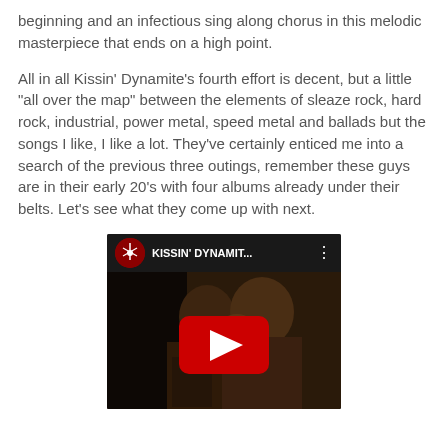beginning and an infectious sing along chorus in this melodic masterpiece that ends on a high point.
All in all Kissin' Dynamite's fourth effort is decent, but a little "all over the map" between the elements of sleaze rock, hard rock, industrial, power metal, speed metal and ballads but the songs I like, I like a lot.  They've certainly enticed me into a search of the previous three outings, remember these guys are in their early 20's with four albums already under their belts.  Let's see what they come up with next.
[Figure (screenshot): Embedded YouTube video thumbnail showing KISSIN' DYNAMIT... with a red play button overlay on a dark image of two people. YouTube channel icon visible in the header bar.]